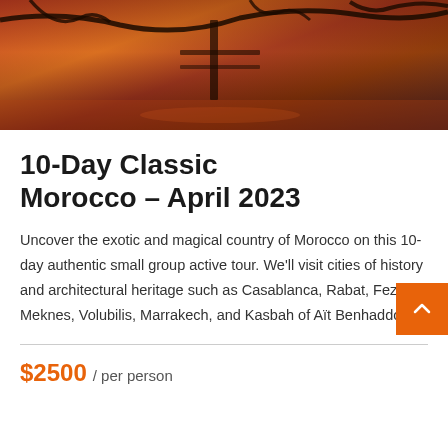[Figure (photo): Sunset/dusk landscape photo with orange and red sky, tree branches silhouetted, reflection on water]
10-Day Classic Morocco – April 2023
Uncover the exotic and magical country of Morocco on this 10-day authentic small group active tour. We'll visit cities of history and architectural heritage such as Casablanca, Rabat, Fez, Meknes, Volubilis, Marrakech, and Kasbah of Aït Benhaddou.
$2500 / per person